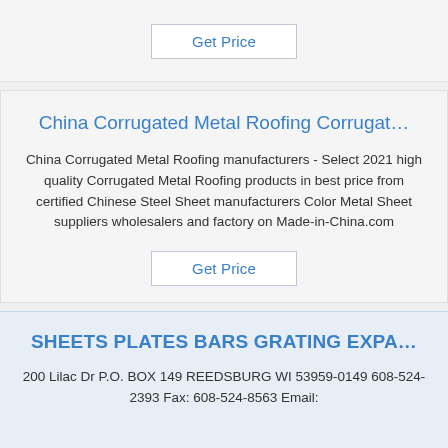[Figure (other): Get Price button at top of page]
China Corrugated Metal Roofing Corrugat…
China Corrugated Metal Roofing manufacturers - Select 2021 high quality Corrugated Metal Roofing products in best price from certified Chinese Steel Sheet manufacturers Color Metal Sheet suppliers wholesalers and factory on Made-in-China.com
[Figure (other): Get Price button]
SHEETS PLATES BARS GRATING EXPA…
200 Lilac Dr P.O. BOX 149 REEDSBURG WI 53959-0149 608-524-2393 Fax: 608-524-8563 Email: